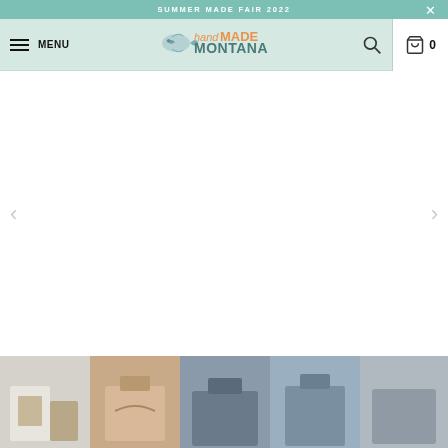SUMMER MADE FAIR 2022
[Figure (screenshot): handMADE MONTANA website navigation bar with hamburger menu, logo, search icon, and shopping cart showing 0 items]
[Figure (photo): Main product image area with left and right navigation arrows, currently showing white/empty main image area]
[Figure (photo): Row of 5 product thumbnail images at the bottom showing various bags/pouches in different colors and styles]